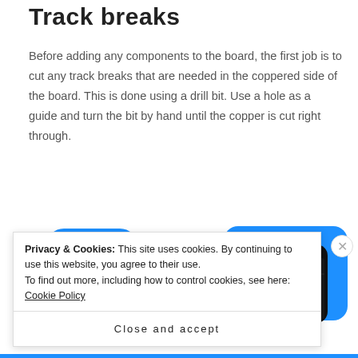Track breaks
Before adding any components to the board, the first job is to cut any track breaks that are needed in the coppered side of the board. This is done using a drill bit. Use a hole as a guide and turn the bit by hand until the copper is cut right through.
[Figure (screenshot): Screenshot of a media app showing 'Up Next' queue on two mobile phone screens, with a blue play button icon and rounded blue rectangle shapes in the background.]
Privacy & Cookies: This site uses cookies. By continuing to use this website, you agree to their use.
To find out more, including how to control cookies, see here: Cookie Policy
Close and accept